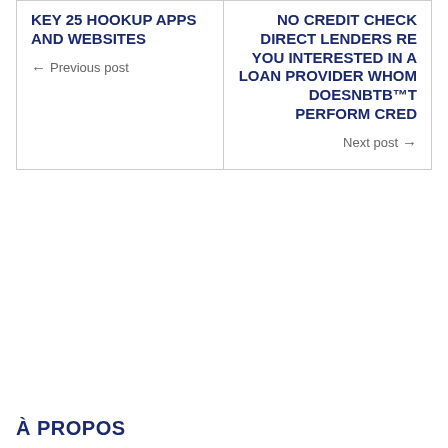KEY 25 HOOKUP APPS AND WEBSITES
← Previous post
NO CREDIT CHECK DIRECT LENDERS RE YOU INTERESTED IN A LOAN PROVIDER WHOM DOESNBТb™T PERFORM CRED
Next post →
À PROPOS